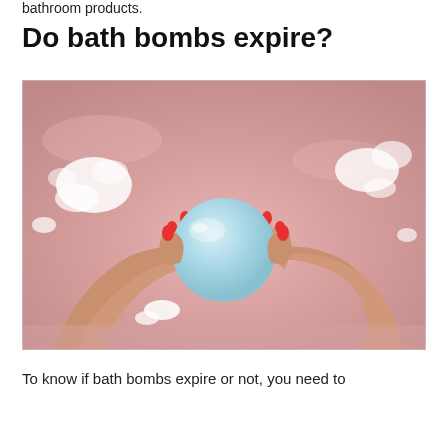bathroom products.
Do bath bombs expire?
[Figure (photo): Hands with red nail polish holding a light blue bath bomb over a pink bathtub with white foam/bubbles visible around the hands and in the water.]
To know if bath bombs expire or not, you need to